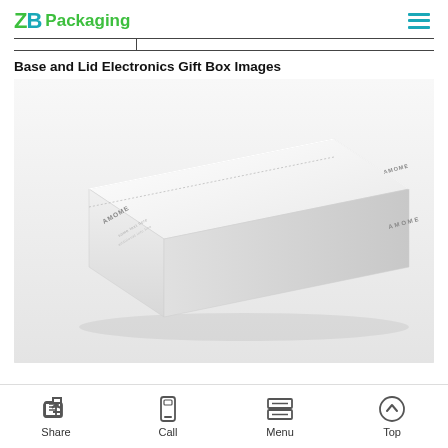ZB Packaging
Base and Lid Electronics Gift Box Images
[Figure (photo): White rectangular base and lid electronics gift box shown at an angle. The box has minimal branding text on its face and side panels, displayed on a light grey/white background.]
Share  Call  Menu  Top